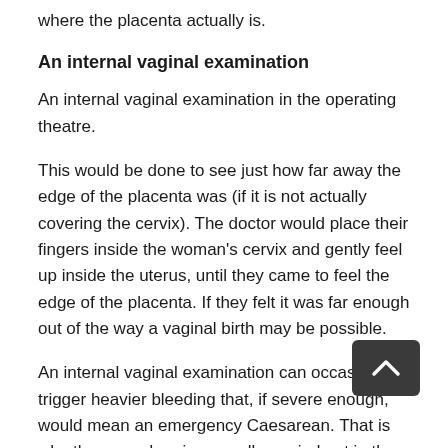where the placenta actually is.
An internal vaginal examination
An internal vaginal examination in the operating theatre.
This would be done to see just how far away the edge of the placenta was (if it is not actually covering the cervix). The doctor would place their fingers inside the woman's cervix and gently feel up inside the uterus, until they came to feel the edge of the placenta. If they felt it was far enough out of the way a vaginal birth may be possible.
An internal vaginal examination can occasionally trigger heavier bleeding that, if severe enough, would mean an emergency Caesarean. That is why the procedure is normally carried out in the